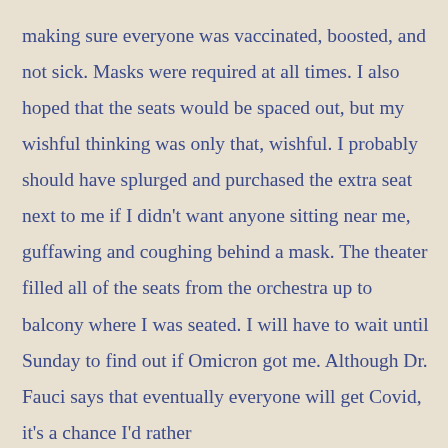making sure everyone was vaccinated, boosted, and not sick. Masks were required at all times. I also hoped that the seats would be spaced out, but my wishful thinking was only that, wishful. I probably should have splurged and purchased the extra seat next to me if I didn’t want anyone sitting near me, guffawing and coughing behind a mask. The theater filled all of the seats from the orchestra up to balcony where I was seated. I will have to wait until Sunday to find out if Omicron got me. Although Dr. Fauci says that eventually everyone will get Covid, it’s a chance I’d rather